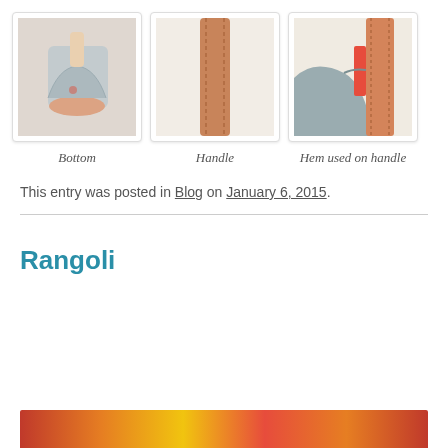[Figure (photo): Photo of the bottom of a handmade bag/shoe item, showing fabric and orange sole]
[Figure (photo): Photo of the handle of a handmade bag, showing stitching on orange/tan fabric strap]
[Figure (photo): Photo showing the hem used on the handle, with red accent and gray fabric]
Bottom
Handle
Hem used on handle
This entry was posted in Blog on January 6, 2015.
Rangoli
[Figure (photo): Partial view of a colorful rangoli design with red, orange, and yellow colors]